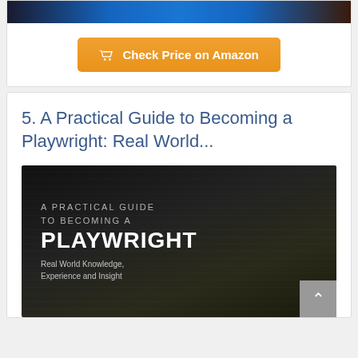[Figure (photo): Top portion of a book or person image showing blue and dark tones, partially cropped at top of page]
[Figure (other): Orange 'Check Price on Amazon' button with shopping cart icon]
5. A Practical Guide to Becoming a Playwright: Real World...
[Figure (photo): Book cover for 'A Practical Guide to Becoming a Playwright' with text: A PRACTICAL GUIDE TO BECOMING A PLAYWRIGHT, Real World Knowledge, Experience and Insight. Dark background with subtle stripes.]